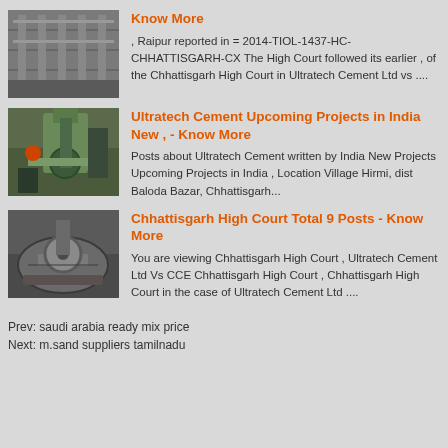[Figure (photo): Industrial factory interior with steel structures]
Know More
, Raipur reported in = 2014-TIOL-1437-HC-CHHATTISGARH-CX The High Court followed its earlier , of the Chhattisgarh High Court in Ultratech Cement Ltd vs ....
[Figure (photo): Worker operating industrial machinery in a factory]
Ultratech Cement Upcoming Projects in India New , - Know More
Posts about Ultratech Cement written by India New Projects Upcoming Projects in India , Location Village Hirmi, dist Baloda Bazar, Chhattisgarh...
[Figure (photo): Industrial metal part or mold close-up]
Chhattisgarh High Court Total 9 Posts - Know More
You are viewing Chhattisgarh High Court , Ultratech Cement Ltd Vs CCE Chhattisgarh High Court , Chhattisgarh High Court in the case of Ultratech Cement Ltd ....
Prev: saudi arabia ready mix price
Next: m.sand suppliers tamilnadu